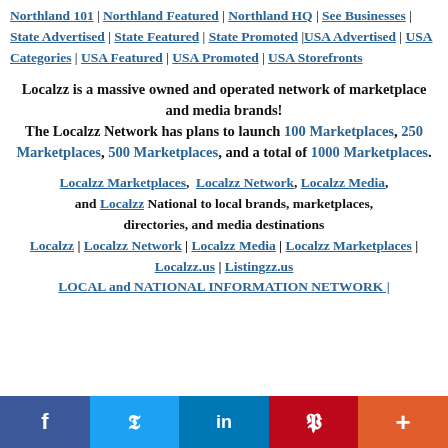Northland 101 | Northland Featured | Northland HQ | See Businesses | State Advertised | State Featured | State Promoted | USA Advertised | USA Categories | USA Featured | USA Promoted | USA Storefronts
Localzz is a massive owned and operated network of marketplace and media brands! The Localzz Network has plans to launch 100 Marketplaces, 250 Marketplaces, 500 Marketplaces, and a total of 1000 Marketplaces.
Localzz Marketplaces, Localzz Network, Localzz Media, and Localzz National to local brands, marketplaces, directories, and media destinations
Localzz | Localzz Network | Localzz Media | Localzz Marketplaces | Localzz.us | Listingzz.us
LOCAL and NATIONAL INFORMATION NETWORK |
[Figure (other): Social sharing bar with Facebook, Twitter, LinkedIn, Pinterest, and More buttons]